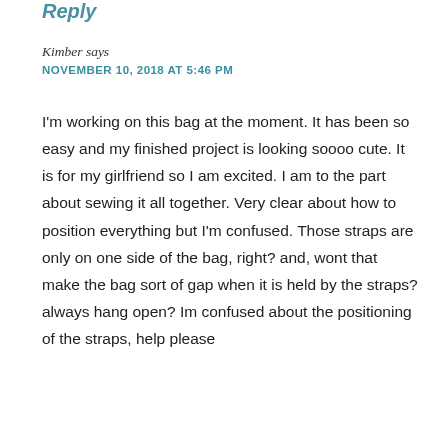Reply
Kimber says
NOVEMBER 10, 2018 AT 5:46 PM
I'm working on this bag at the moment. It has been so easy and my finished project is looking soooo cute. It is for my girlfriend so I am excited. I am to the part about sewing it all together. Very clear about how to position everything but I'm confused. Those straps are only on one side of the bag, right? and, wont that make the bag sort of gap when it is held by the straps? always hang open? Im confused about the positioning of the straps, help please